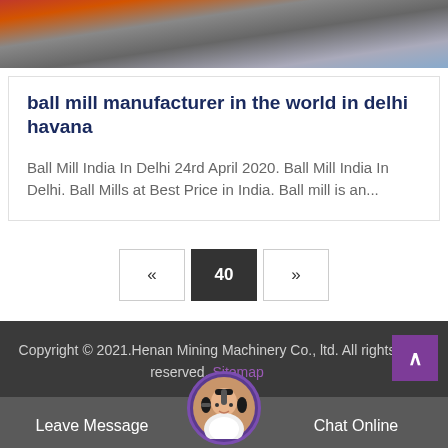[Figure (photo): Top image strip showing machinery or industrial equipment in partial view]
ball mill manufacturer in the world in delhi havana
Ball Mill India In Delhi 24rd April 2020. Ball Mill India In Delhi. Ball Mills at Best Price in India. Ball mill is an...
« 40 »
Copyright © 2021.Henan Mining Machinery Co., ltd. All rights reserved. Sitemap
Leave Message   Chat Online